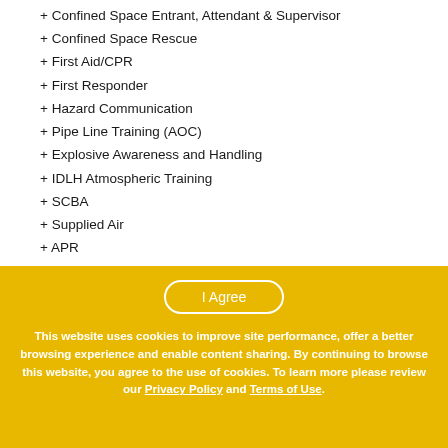+ Confined Space Entrant, Attendant & Supervisor
+ Confined Space Rescue
+ First Aid/CPR
+ First Responder
+ Hazard Communication
+ Pipe Line Training (AOC)
+ Explosive Awareness and Handling
+ IDLH Atmospheric Training
+ SCBA
+ Supplied Air
+ APR
+ High Pressure Hydro Blasting
+ Ultra High Pressure Hydro Blasting
+ Emergency Response and Spill Cleanup
+ and more!
I Agree
This website uses cookies to improve site performance, offer a better browsing experience and enable content sharing. By continuing to browse this website, you agree to the use of cookies. To learn more please review our Privacy Policy and Terms of Use.